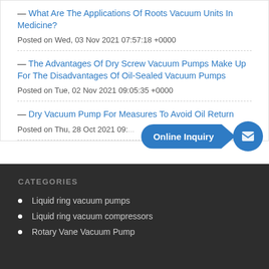— What Are The Applications Of Roots Vacuum Units In Medicine?
Posted on Wed, 03 Nov 2021 07:57:18 +0000
— The Advantages Of Dry Screw Vacuum Pumps Make Up For The Disadvantages Of Oil-Sealed Vacuum Pumps
Posted on Tue, 02 Nov 2021 09:05:35 +0000
— Dry Vacuum Pump For Measures To Avoid Oil Return
Posted on Thu, 28 Oct 2021 09:...
CATEGORIES
Liquid ring vacuum pumps
Liquid ring vacuum compressors
Rotary Vane Vacuum Pump